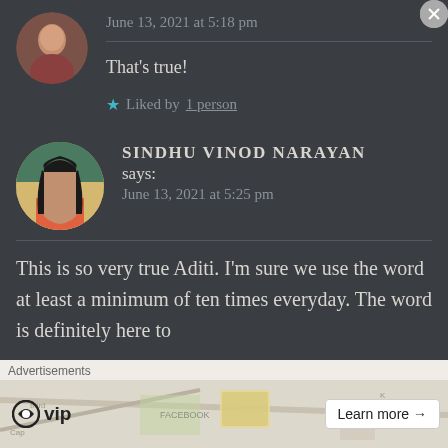June 13, 2021 at 5:18 pm
That’s true!
★ Liked by 1 person
SINDHU VINOD NARAYAN says:
June 13, 2021 at 5:25 pm
This is so very true Aditi. I’m sure we use the word at least a minimum of ten times everyday. The word is definitely here to
Advertisements
[Figure (other): WordPress VIP advertisement banner with map background and Learn more button]